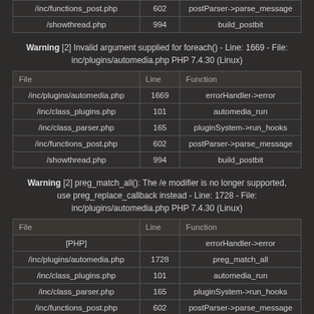| File | Line | Function |
| --- | --- | --- |
| /inc/functions_post.php | 602 | postParser->parse_message |
| /showthread.php | 994 | build_postbit |
Warning [2] Invalid argument supplied for foreach() - Line: 1669 - File: inc/plugins/automedia.php PHP 7.4.30 (Linux)
| File | Line | Function |
| --- | --- | --- |
| /inc/plugins/automedia.php | 1669 | errorHandler->error |
| /inc/class_plugins.php | 101 | automedia_run |
| /inc/class_parser.php | 165 | pluginSystem->run_hooks |
| /inc/functions_post.php | 602 | postParser->parse_message |
| /showthread.php | 994 | build_postbit |
Warning [2] preg_match_all(): The /e modifier is no longer supported, use preg_replace_callback instead - Line: 1728 - File: inc/plugins/automedia.php PHP 7.4.30 (Linux)
| File | Line | Function |
| --- | --- | --- |
| [PHP] |  | errorHandler->error |
| /inc/plugins/automedia.php | 1728 | preg_match_all |
| /inc/class_plugins.php | 101 | automedia_run |
| /inc/class_parser.php | 165 | pluginSystem->run_hooks |
| /inc/functions_post.php | 602 | postParser->parse_message |